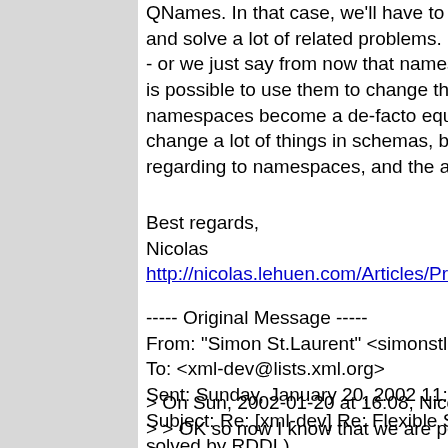QNames. In that case, we'll have to define and solve a lot of related problems.
- or we just say from now that namespaces is possible to use them to change the behavior namespaces become a de-facto equivalent change a lot of things in schemas, beginning regarding to namespaces, and the ability to
Best regards,
Nicolas
http://nicolas.lehuen.com/Articles/Programm
----- Original Message -----
From: "Simon St.Laurent" <simonstl@simo
To: <xml-dev@lists.xml.org>
Sent: Sunday, January 20, 2002 11:19 PM
Subject: Re: [xml-dev] Re: Flexible Schema solved by RDDL)
> On Sun, 2002-01-20 at 16:08, Nicolas Le
> > OK so now I know that we are perfectly So
> > please, please, could you mention in th be
> > used as a way to find schemas for a do